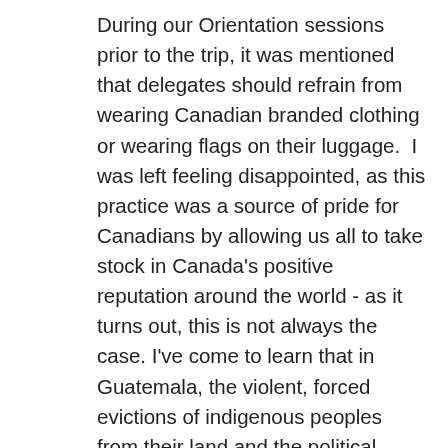During our Orientation sessions prior to the trip, it was mentioned that delegates should refrain from wearing Canadian branded clothing or wearing flags on their luggage.  I was left feeling disappointed, as this practice was a source of pride for Canadians by allowing us all to take stock in Canada's positive reputation around the world - as it turns out, this is not always the case. I've come to learn that in Guatemala, the violent, forced evictions of indigenous peoples from their land and the political corruption found here (often to benefit Canadian mining interests) have contributed to a wholly negative impression of Canadians. It was also explained that impunity is rampant in Guatemala, meaning that crimes are rarely properly investigated or prosecuted.  This has lead to a number of groups in Guatemala attempting to seek justice through the Canadian court system.